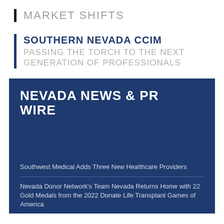MARKET SHIFTS
SOUTHERN NEVADA CCIM
PASSING THE TORCH TO THE NEXT GENERATION OF PROFESSIONALS
NEVADA NEWS & PR WIRE
Southwest Medical Adds Three New Healthcare Providers
Nevada Donor Network's Team Nevada Returns Home with 22 Gold Medals from the 2022 Donate Life Transplant Games of America